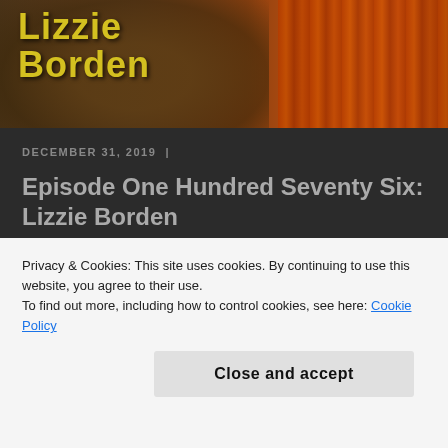[Figure (illustration): Hero banner image for a podcast about Lizzie Borden. Shows a dark sepia-toned face with dramatic lighting on the left, and dark red curtains on the right. Yellow grunge-style text reads 'Lizzie Borden' over the image.]
DECEMBER 31, 2019  |
Episode One Hundred Seventy Six: Lizzie Borden
On this last episode of 2019, Tom and Jenny are exploring one of the best-known and most-
Privacy & Cookies: This site uses cookies. By continuing to use this website, you agree to their use.
To find out more, including how to control cookies, see here: Cookie Policy
Close and accept
that may have been perpetrated by unassuming